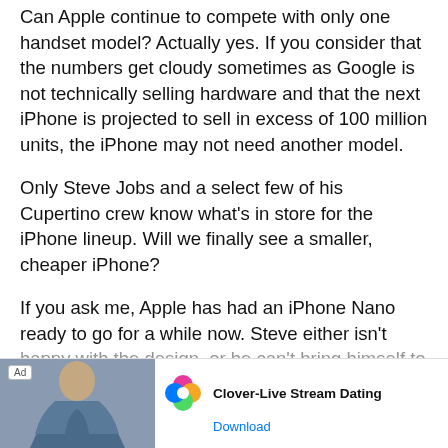Can Apple continue to compete with only one handset model? Actually yes. If you consider that the numbers get cloudy sometimes as Google is not technically selling hardware and that the next iPhone is projected to sell in excess of 100 million units, the iPhone may not need another model.
Only Steve Jobs and a select few of his Cupertino crew know what's in store for the iPhone lineup. Will we finally see a smaller, cheaper iPhone?
If you ask me, Apple has had an iPhone Nano ready to go for a while now. Steve either isn't happy with the design, or he can't bring himself to pu...
[Figure (other): Advertisement banner for Clover-Live Stream Dating app. Shows 'Ad' badge, a photo of a woman, Clover app icon (four-leaf clover in pink, green, yellow, blue), text 'Clover-Live Stream Dating', and a 'Download' link in blue.]